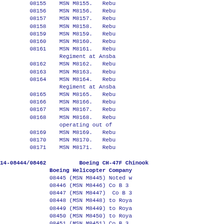08155    MSN M8155.   Rebu
08156    MSN M8156.   Rebu
08157    MSN M8157.   Rebu
08158    MSN M8158.   Rebu
08159    MSN M8159.   Rebu
08160    MSN M8160.   Rebu
08161    MSN M8161.   Rebu
         Regiment at Ansba
08162    MSN M8162.   Rebu
08163    MSN M8163.   Rebu
08164    MSN M8164.   Rebu
         Regiment at Ansba
08165    MSN M8165.   Rebu
08166    MSN M8166.   Rebu
08167    MSN M8167.   Rebu
08168    MSN M8168.   Rebu
         operating out of
08169    MSN M8169.   Rebu
08170    MSN M8170.   Rebu
08171    MSN M8171.   Rebu
14-08444/08462
Boeing CH-47F Chinook
     Boeing Helicopter Company
     08445 (MSN M8445) Noted w
     08446 (MSN M8446) Co B 3
     08447 (MSN M8447)  Co B 3
     08448 (MSN M8448) to Roya
     08449 (MSN M8449) to Roya
     08450 (MSN M8450) to Roya
     08451 (MSN M8451) Co B 3